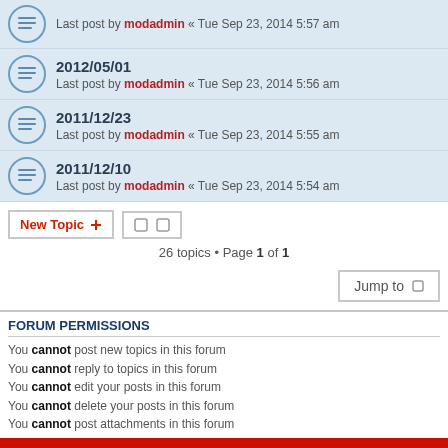Last post by modadmin « Tue Sep 23, 2014 5:57 am
2012/05/01 — Last post by modadmin « Tue Sep 23, 2014 5:56 am
2011/12/23 — Last post by modadmin « Tue Sep 23, 2014 5:55 am
2011/12/10 — Last post by modadmin « Tue Sep 23, 2014 5:54 am
26 topics • Page 1 of 1
FORUM PERMISSIONS
You cannot post new topics in this forum
You cannot reply to topics in this forum
You cannot edit your posts in this forum
You cannot delete your posts in this forum
You cannot post attachments in this forum
Board index  Contact us  Delete cookies  All times are UTC+10:00
Powered by phpBB® Forum Software © phpBB Limited
Privacy | Terms